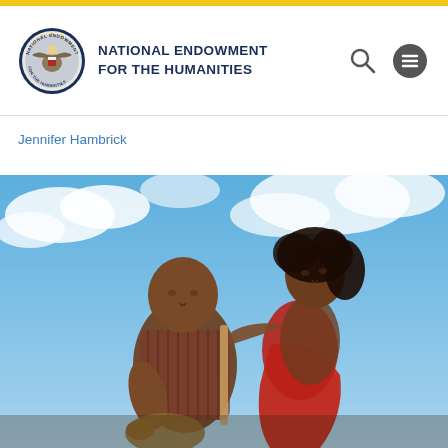NATIONAL ENDOWMENT FOR THE HUMANITIES
Jennifer Hambrick
[Figure (photo): Two Black performers (a man seated in a striped shirt holding a cane, and a woman in a red dress) posed against a blue sky with clouds, looking upward.]